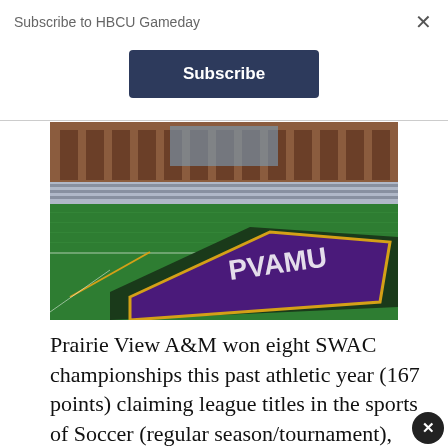Subscribe to HBCU Gameday
Subscribe
[Figure (photo): Aerial view of Prairie View A&M football stadium field showing green turf with purple and gold logo, stadium seating and brick building in background]
Prairie View A&M won eight SWAC championships this past athletic year (167 points) claiming league titles in the sports of Soccer (regular season/tournament), Bowling (regular season), Men's and Women's Indoor Track and Field, Men's and